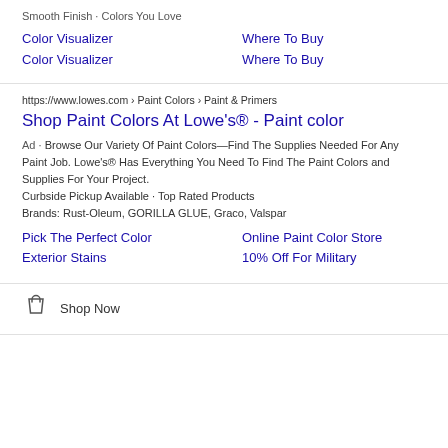Smooth Finish · Colors You Love
Color Visualizer
Where To Buy
Color Visualizer
Where To Buy
https://www.lowes.com › Paint Colors › Paint & Primers
Shop Paint Colors At Lowe's® - Paint color
Ad · Browse Our Variety Of Paint Colors—Find The Supplies Needed For Any Paint Job. Lowe's® Has Everything You Need To Find The Paint Colors and Supplies For Your Project. Curbside Pickup Available · Top Rated Products Brands: Rust-Oleum, GORILLA GLUE, Graco, Valspar
Pick The Perfect Color
Online Paint Color Store
Exterior Stains
10% Off For Military
Shop Now